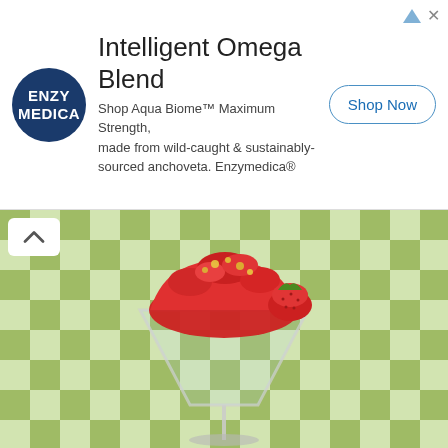[Figure (other): Advertisement banner for Enzymedica Intelligent Omega Blend featuring logo, title, description text, and Shop Now button]
[Figure (photo): A strawberry frozen dessert/granita in a martini glass, garnished with a fresh strawberry and yellow crumbles, placed on a green and white checkered tablecloth background]